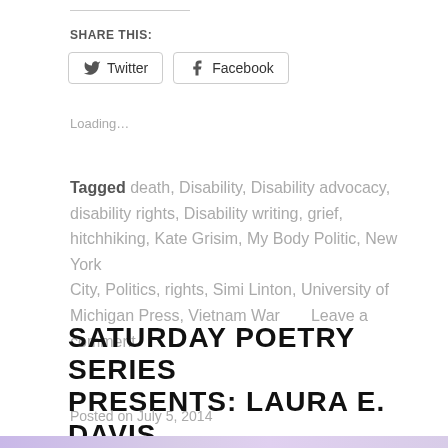SHARE THIS:
Twitter  Facebook
Loading…
Tagged death, Disability, Disability advocacy, disability rights, Disability writing, grief, hitchhiking, Kate Grisim, My Body Politic, New York City, Politics, rights, Simi Linton, University of Michigan Press, Vietnam War     Leave a comment
SATURDAY POETRY SERIES PRESENTS: LAURA E. DAVIS
Posted on July 5, 2014